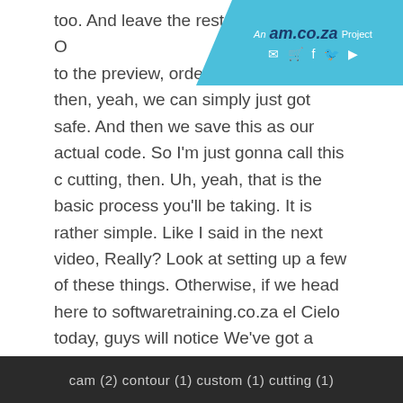An am.co.za Project (email, cart, facebook, twitter, youtube icons)
too. And leave the rest. O... we can go to the preview, ... order. Looks like it. And then, yeah, we can simply just got safe. And then we save this as our actual code. So I'm just gonna call this c cutting, then. Uh, yeah, that is the basic process you'll be taking. It is rather simple. Like I said in the next video, Really? Look at setting up a few of these things. Otherwise, if we head here to softwaretraining.co.za el Cielo today, guys will notice We've got a variety of different Softwares to recover. And you can also isolate your surgery on the top, right? If you do not find, uh, training videos are looking forward to your requested training video. And then we'll do our best to try and make that for you. But otherwise thanks, guys, for watching and cheers
[Figure (screenshot): Bottom bar showing tags: cam (2) contour (1) custom (1) cutting (1)]